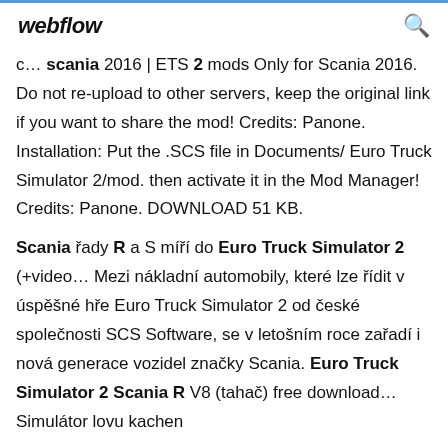webflow
c… scania 2016 | ETS 2 mods Only for Scania 2016. Do not re-upload to other servers, keep the original link if you want to share the mod! Credits: Panone. Installation: Put the .SCS file in Documents/ Euro Truck Simulator 2/mod. then activate it in the Mod Manager! Credits: Panone. DOWNLOAD 51 KB.
Scania řady R a S míří do Euro Truck Simulator 2 (+video… Mezi nákladní automobily, které lze řídit v úspěšné hře Euro Truck Simulator 2 od české společnosti SCS Software, se v letošním roce zařadí i nová generace vozidel značky Scania. Euro Truck Simulator 2 Scania R V8 (tahač) free download… Simulátor lovu kachen